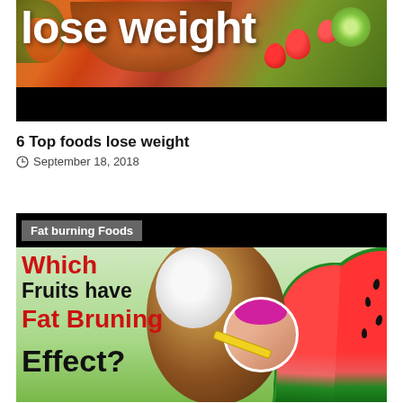[Figure (photo): Banner image showing a bowl of colorful fruits including strawberries and kiwi with large white text 'lose weight' overlaid on a dark bottom bar]
6 Top foods lose weight
September 18, 2018
[Figure (photo): Card with 'Fat burning Foods' label tag on black background, below which is an infographic image showing a coconut, watermelon slices, a person measuring waist, with text: 'Which Fruits have Fat Bruning Effect?']